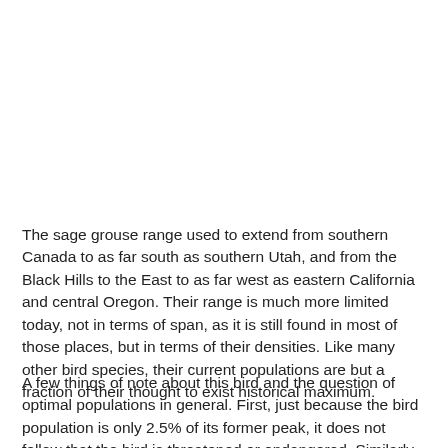The sage grouse range used to extend from southern Canada to as far south as southern Utah, and from the Black Hills to the East to as far west as eastern California and central Oregon. Their range is much more limited today, not in terms of span, as it is still found in most of those places, but in terms of their densities. Like many other bird species, their current populations are but a fraction of their thought to exist historical maximum.
A few things of note about this bird and the question of optimal populations in general. First, just because the bird population is only 2.5% of its former peak, it does not follow that the bird is threatened or endangered. Similarly, just because a population may be near